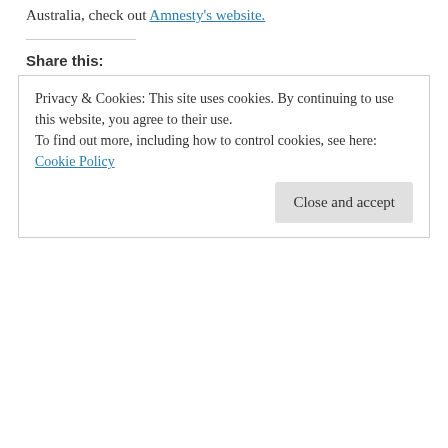Australia, check out Amnesty's website.
Share this:
Share 0  Tweet  More
Loading...
This entry was posted in Uncategorized and tagged Amnesty International, Australia, Canberra, children, Indigenous, Parliament House, youth justice on March 11, 2018.
Privacy & Cookies: This site uses cookies. By continuing to use this website, you agree to their use.
To find out more, including how to control cookies, see here: Cookie Policy